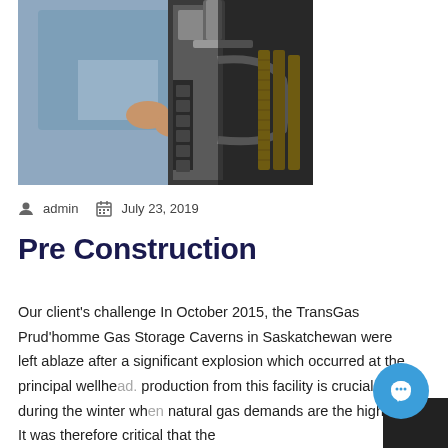[Figure (photo): A person in a blue shirt working on industrial machinery with yellow and black components, appears to be manufacturing or maintenance equipment.]
admin   July 23, 2019
Pre Construction
Our client's challenge In October 2015, the TransGas Prud'homme Gas Storage Caverns in Saskatchewan were left ablaze after a significant explosion which occurred at the principal wellhe... production from this facility is crucial during the winter wh... natural gas demands are the highest. It was therefore critical that the